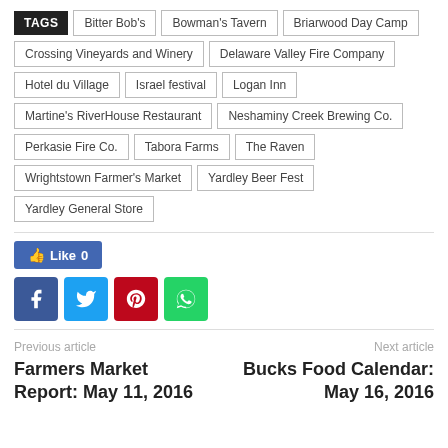TAGS | Bitter Bob's | Bowman's Tavern | Briarwood Day Camp | Crossing Vineyards and Winery | Delaware Valley Fire Company | Hotel du Village | Israel festival | Logan Inn | Martine's RiverHouse Restaurant | Neshaminy Creek Brewing Co. | Perkasie Fire Co. | Tabora Farms | The Raven | Wrightstown Farmer's Market | Yardley Beer Fest | Yardley General Store
[Figure (other): Facebook Like button showing 'Like 0']
[Figure (other): Social share buttons: Facebook, Twitter, Pinterest, WhatsApp]
Previous article
Next article
Farmers Market Report: May 11, 2016
Bucks Food Calendar: May 16, 2016